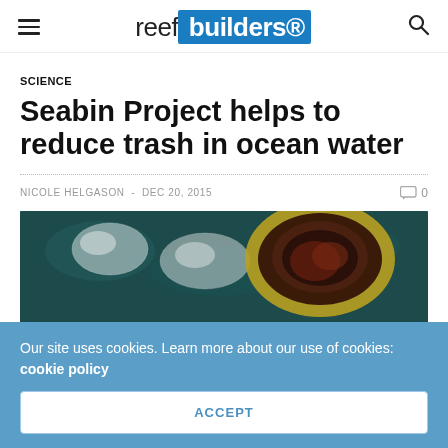reef builders
SCIENCE
Seabin Project helps to reduce trash in ocean water
NICOLE HELGASON  -  DEC 20, 2015   0
[Figure (photo): Underwater photo showing plastic bags floating in dark ocean water next to a yellow Seabin device]
Our site uses cookies. Learn more about our use of cookies: cookie policy
ACCEPT